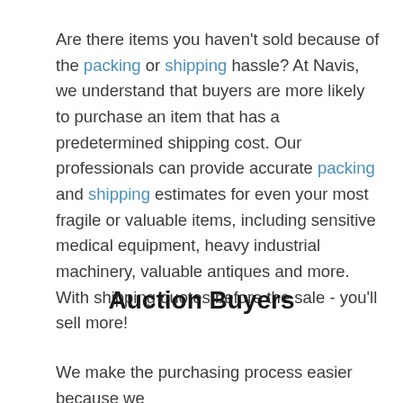Are there items you haven't sold because of the packing or shipping hassle? At Navis, we understand that buyers are more likely to purchase an item that has a predetermined shipping cost. Our professionals can provide accurate packing and shipping estimates for even your most fragile or valuable items, including sensitive medical equipment, heavy industrial machinery, valuable antiques and more. With shipping quotes before the sale - you'll sell more!
Auction Buyers
We make the purchasing process easier because we